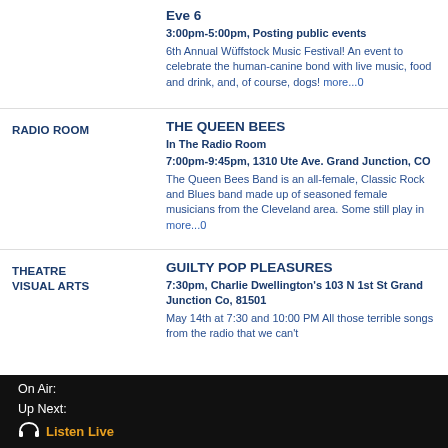Eve 6
3:00pm-5:00pm, Posting public events
6th Annual Wüffstock Music Festival! An event to celebrate the human-canine bond with live music, food and drink, and, of course, dogs! more...0
RADIO ROOM
THE QUEEN BEES
In The Radio Room
7:00pm-9:45pm, 1310 Ute Ave. Grand Junction, CO
The Queen Bees Band is an all-female, Classic Rock and Blues band made up of seasoned female musicians from the Cleveland area. Some still play in more...0
THEATRE
VISUAL ARTS
GUILTY POP PLEASURES
7:30pm, Charlie Dwellington's 103 N 1st St Grand Junction Co, 81501
May 14th at 7:30 and 10:00 PM All those terrible songs from the radio that we can't
On Air:
Up Next:
🎧 Listen Live